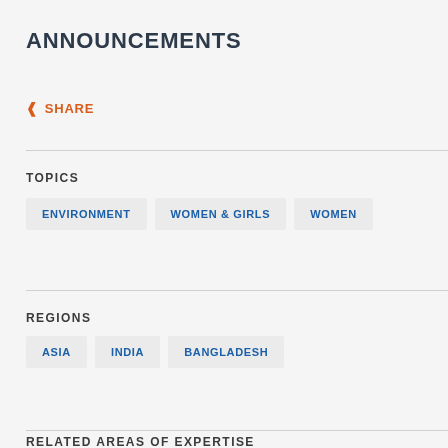ANNOUNCEMENTS
SHARE
TOPICS
ENVIRONMENT
WOMEN & GIRLS
WOMEN
REGIONS
ASIA
INDIA
BANGLADESH
RELATED AREAS OF EXPERTISE